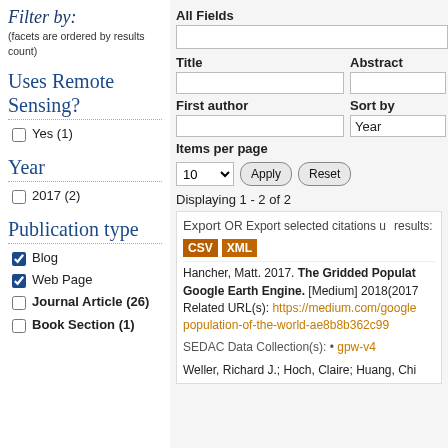Filter by:
(facets are ordered by results count)
Uses Remote Sensing?
Yes (1)
Year
2017 (2)
Publication type
Blog
Web Page
Journal Article (26)
Book Section (1)
All Fields
Title | Abstract
First author | Sort by | Year
Items per page
Displaying 1 - 2 of 2
| Export | OR Export selected citations u |
| results: | CSV | XML |
| Hancher, Matt. 2017. The Gridded Populat Google Earth Engine. [Medium] 2018(2017 | Related URL(s): https://medium.com/google population-of-the-world-ae8b8b362c99 |
| SEDAC Data Collection(s): • gpw-v4 |  |
| Weller, Richard J.; Hoch, Claire; Huang, Chi |  |